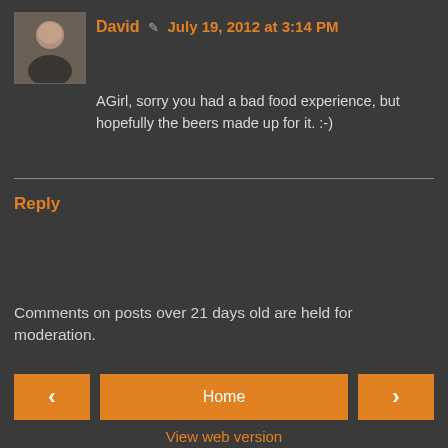[Figure (photo): Small avatar/profile photo of a person (David)]
David ✏ July 19, 2012 at 3:14 PM
AGirl, sorry you had a bad food experience, but hopefully the beers made up for it. :-)
Reply
Comments on posts over 21 days old are held for moderation.
‹  Home  ›
View web version